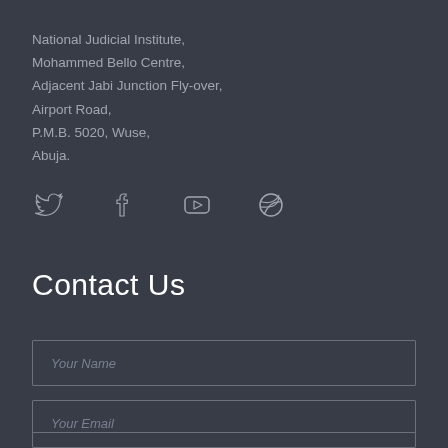National Judicial Institute,
Mohammed Bello Centre,
Adjacent Jabi Junction Fly-over,
Airport Road,
P.M.B. 5020, Wuse,
Abuja.
[Figure (illustration): Four social media icons in a row: Twitter bird icon, Facebook 'f' icon, YouTube play button icon, Dribbble ball icon. All rendered as outline/stroke icons in light gray.]
Contact Us
Your Name
Your Email